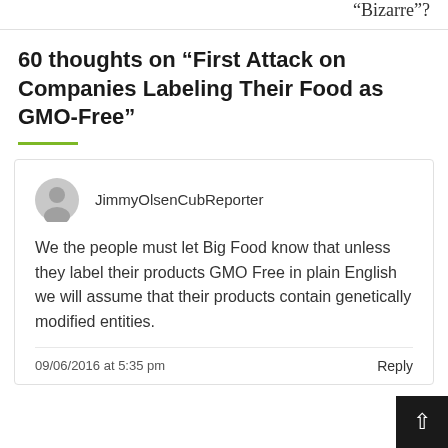“Bizarre”?
60 thoughts on “First Attack on Companies Labeling Their Food as GMO-Free”
JimmyOlsenCubReporter
We the people must let Big Food know that unless they label their products GMO Free in plain English we will assume that their products contain genetically modified entities.
09/06/2016 at 5:35 pm
Reply